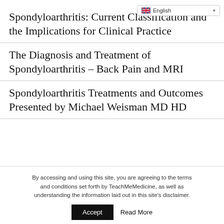English
Spondyloarthritis: Current Classification and the Implications for Clinical Practice
The Diagnosis and Treatment of Spondyloarthritis – Back Pain and MRI
Spondyloarthritis Treatments and Outcomes Presented by Michael Weisman MD HD
By accessing and using this site, you are agreeing to the terms and conditions set forth by TeachMeMedicine, as well as understanding the information laid out in this site's disclaimer.
Accept   Read More